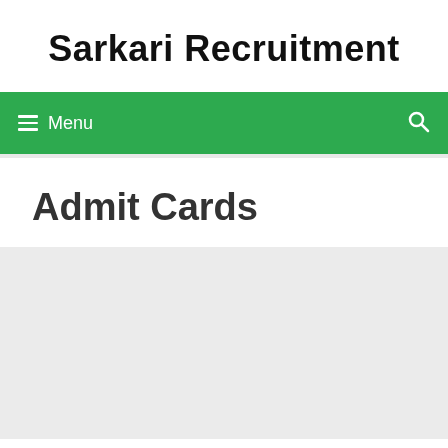Sarkari Recruitment
Menu
Admit Cards